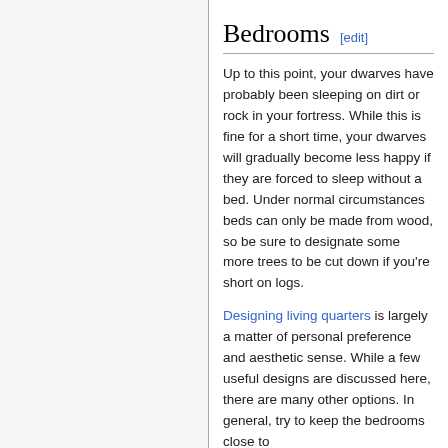Bedrooms [edit]
Up to this point, your dwarves have probably been sleeping on dirt or rock in your fortress. While this is fine for a short time, your dwarves will gradually become less happy if they are forced to sleep without a bed. Under normal circumstances beds can only be made from wood, so be sure to designate some more trees to be cut down if you're short on logs.
Designing living quarters is largely a matter of personal preference and aesthetic sense. While a few useful designs are discussed here, there are many other options. In general, try to keep the bedrooms close to